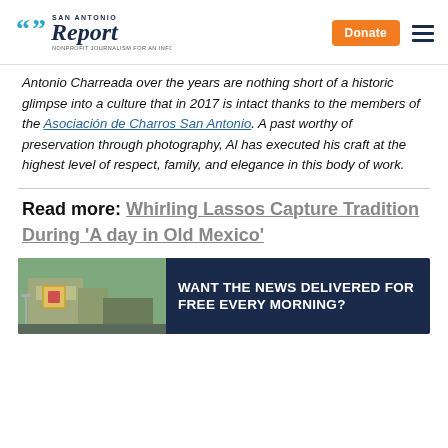San Antonio Report — Donate | Menu
Antonio Charreada over the years are nothing short of a historic glimpse into a culture that in 2017 is intact thanks to the members of the Asociación de Charros San Antonio. A past worthy of preservation through photography, Al has executed his craft at the highest level of respect, family, and elegance in this body of work.
Read more: Whirling Lassos Capture Tradition During 'A day in Old Mexico'
[Figure (photo): Newsletter signup banner with dark navy background, photo of a building on the left, and bold white text 'WANT THE NEWS DELIVERED FOR FREE EVERY MORNING?']